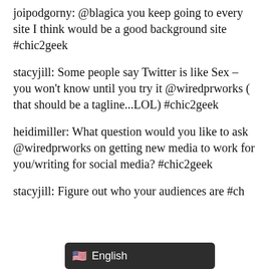joipodgorny: @blagica you keep going to every site I think would be a good background site #chic2geek
stacyjill: Some people say Twitter is like Sex – you won't know until you try it @wiredprworks ( that should be a tagline...LOL) #chic2geek
heidimiller: What question would you like to ask @wiredprworks on getting new media to work for you/writing for social media? #chic2geek
stacyjill: Figure out who your audiences are #ch...